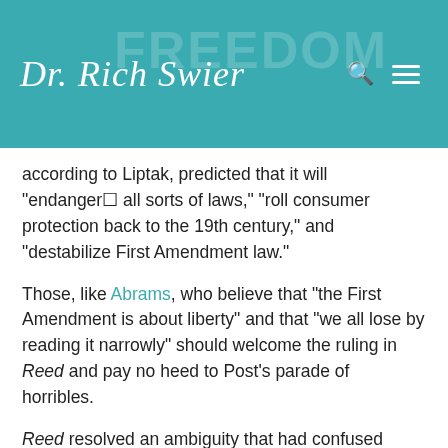Dr. Rich Swier
according to Liptak, predicted that it will “endanger☐ all sorts of laws,” “roll consumer protection back to the 19th century,” and “destabilize First Amendment law.”
Those, like Abrams, who believe that “the First Amendment is about liberty” and that “we all lose by reading it narrowly” should welcome the ruling in Reed and pay no heed to Post’s parade of horribles.
Reed resolved an ambiguity that had confused lower courts for decades and rendered many Americans’ free speech protections uncertain.